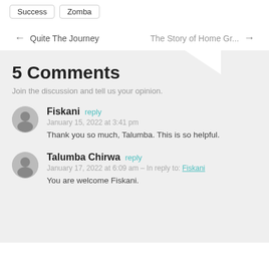Success
Zomba
← Quite The Journey    The Story of Home Gr... →
5 Comments
Join the discussion and tell us your opinion.
Fiskani reply
January 15, 2022 at 3:41 pm
Thank you so much, Talumba. This is so helpful.
Talumba Chirwa reply
January 17, 2022 at 6:09 am – In reply to: Fiskani
You are welcome Fiskani.